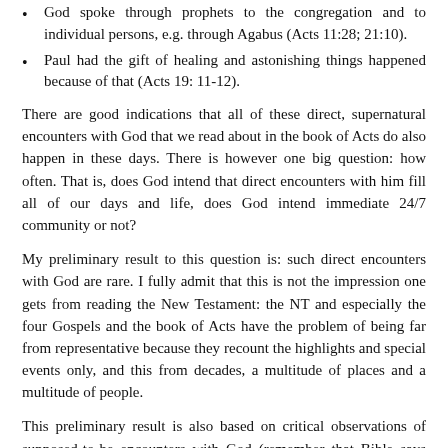God spoke through prophets to the congregation and to individual persons, e.g. through Agabus (Acts 11:28; 21:10).
Paul had the gift of healing and astonishing things happened because of that (Acts 19: 11-12).
There are good indications that all of these direct, supernatural encounters with God that we read about in the book of Acts do also happen in these days. There is however one big question: how often. That is, does God intend that direct encounters with him fill all of our days and life, does God intend immediate 24/7 community or not?
My preliminary result to this question is: such direct encounters with God are rare. I fully admit that this is not the impression one gets from reading the New Testament: the NT and especially the four Gospels and the book of Acts have the problem of being far from representative because they recount the highlights and special events only, and this from decades, a multitude of places and a multitude of people.
This preliminary result is also based on critical observations of supposed-to-be encounters with God (remember that Bible says that we should test prophecy etc.). Some of these experiences are genuine, as reasoned for above. But most are not (I think).